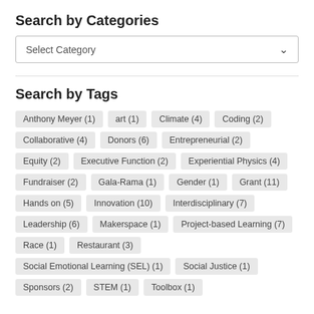Search by Categories
Select Category
Search by Tags
Anthony Meyer (1)
art (1)
Climate (4)
Coding (2)
Collaborative (4)
Donors (6)
Entrepreneurial (2)
Equity (2)
Executive Function (2)
Experiential Physics (4)
Fundraiser (2)
Gala-Rama (1)
Gender (1)
Grant (11)
Hands on (5)
Innovation (10)
Interdisciplinary (7)
Leadership (6)
Makerspace (1)
Project-based Learning (7)
Race (1)
Restaurant (3)
Social Emotional Learning (SEL) (1)
Social Justice (1)
Sponsors (2)
STEM (1)
Toolbox (1)